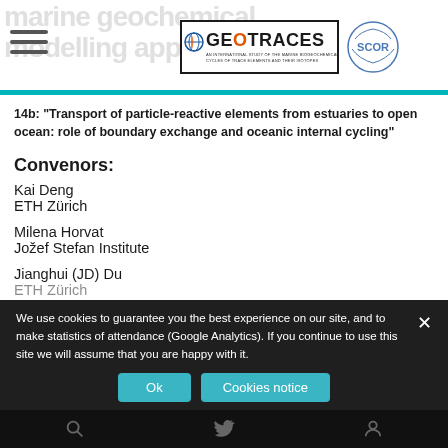GEOTRACES — marine geochemical modelling approach [header with logos]
14b: "Transport of particle-reactive elements from estuaries to open ocean: role of boundary exchange and oceanic internal cycling"
Convenors:
Kai Deng
ETH Zürich
Milena Horvat
Jožef Stefan Institute
Jianghui (JD) Du
ETH Zürich
We use cookies to guarantee you the best experience on our site, and to make statistics of attendance (Google Analytics). If you continue to use this site we will assume that you are happy with it.